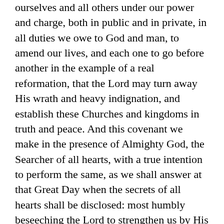ourselves and all others under our power and charge, both in public and in private, in all duties we owe to God and man, to amend our lives, and each one to go before another in the example of a real reformation, that the Lord may turn away His wrath and heavy indignation, and establish these Churches and kingdoms in truth and peace. And this covenant we make in the presence of Almighty God, the Searcher of all hearts, with a true intention to perform the same, as we shall answer at that Great Day when the secrets of all hearts shall be disclosed: most humbly beseeching the Lord to strengthen us by His Holy Spirit for this end, and to bless our desires and proceedings with such success as may be a deliverance and safety to His people, and encouragement to the Christian Churches groaning under or in danger of the yoke of Anti-christian tyranny, to join in the same or like association and covenant, to the glory of God, the enlargement of the kingdom of Jesus Christ, and the peace and tranquillity of Christian kingdoms and commonwealths.